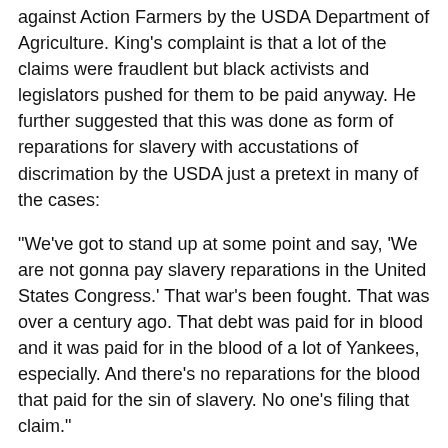against Action Farmers by the USDA Department of Agriculture. King's complaint is that a lot of the claims were fraudlent but black activists and legislators pushed for them to be paid anyway. He further suggested that this was done as form of reparations for slavery with accustations of discrimation by the USDA just a pretext in many of the cases:
"We've got to stand up at some point and say, 'We are not gonna pay slavery reparations in the United States Congress.' That war's been fought. That was over a century ago. That debt was paid for in blood and it was paid for in the blood of a lot of Yankees, especially. And there's no reparations for the blood that paid for the sin of slavery. No one's filing that claim."
Steve King is making a charge of reverse racism. He's suggesting that because then Senator Obama was an urban dweller from the city of Chicago he had no natural legislative interest in black farmers or black persons claiming to be harmed by discriminatory farm policies, except that the claimants were black.
This is a repeat of a charge Steve King made last June, that